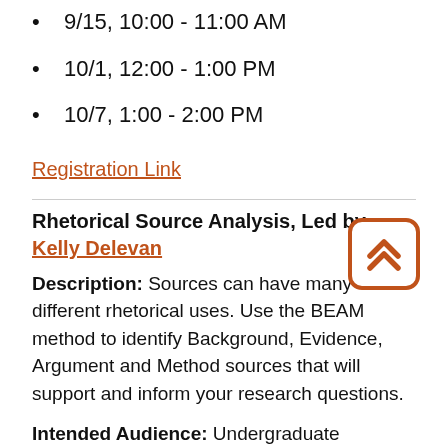9/15, 10:00 - 11:00 AM
10/1, 12:00 - 1:00 PM
10/7, 1:00 - 2:00 PM
Registration Link
Rhetorical Source Analysis, Led by Kelly Delevan
Description: Sources can have many different rhetorical uses. Use the BEAM method to identify Background, Evidence, Argument and Method sources that will support and inform your research questions.
Intended Audience: Undergraduate students in WRT courses
Format / Time: